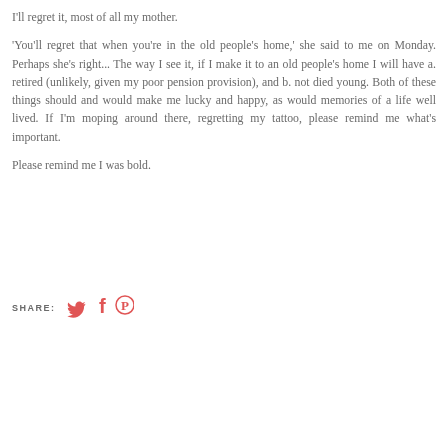I'll regret it, most of all my mother.
'You'll regret that when you're in the old people's home,' she said to me on Monday. Perhaps she's right... The way I see it, if I make it to an old people's home I will have a. retired (unlikely, given my poor pension provision), and b. not died young. Both of these things should and would make me lucky and happy, as would memories of a life well lived. If I'm moping around there, regretting my tattoo, please remind me what's important.
Please remind me I was bold.
SHARE: